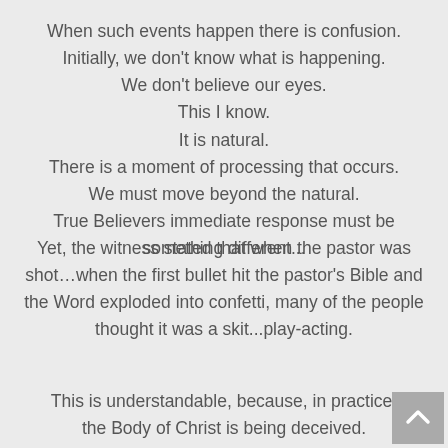When such events happen there is confusion. Initially, we don't know what is happening. We don't believe our eyes. This I know. It is natural. There is a moment of processing that occurs. We must move beyond the natural. True Believers immediate response must be something different...
Yet, the witness stated that when the pastor was shot…when the first bullet hit the pastor's Bible and the Word exploded into confetti, many of the people thought it was a skit...play-acting.
This is understandable, because, in practice, the Body of Christ is being deceived.